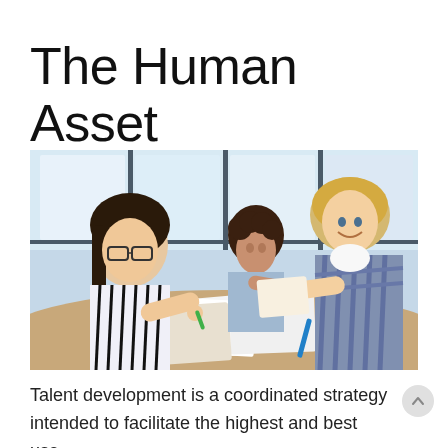The Human Asset
[Figure (photo): Three young people collaborating at a table with papers and notebooks, in a bright office/classroom setting with large windows. A girl with glasses and striped shirt in the foreground, a boy in a plaid shirt on the right smiling, and another person in the background.]
Talent development is a coordinated strategy intended to facilitate the highest and best use